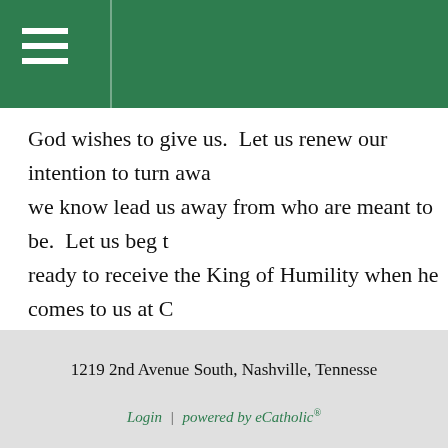God wishes to give us.  Let us renew our intention to turn away we know lead us away from who are meant to be.  Let us beg t ready to receive the King of Humility when he comes to us at C tender and vulnerable child.  Let us ask God also to strengthen with his Holy Spirit and with the fire of his love, so that we w to the end of our lives in his friendship.  Come, Lord Jesus, qu
1219 2nd Avenue South, Nashville, Tennesse
Login | powered by eCatholic®